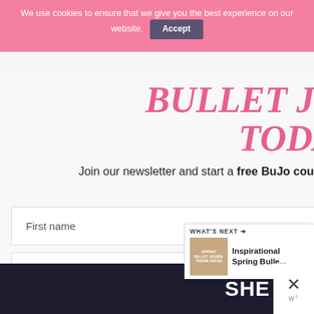We use cookies to ensure that we give you the best experience on our website. Accept
BULLET JOURNAL TODAY!
Join our newsletter and start a free BuJo course, as well as get tips and free printables.
First name
Email address
[Figure (screenshot): WHAT'S NEXT arrow - Inspirational Spring Bulle... thumbnail and text widget]
[Figure (screenshot): SHE CAN STEM advertisement banner in dark background with white bold text]